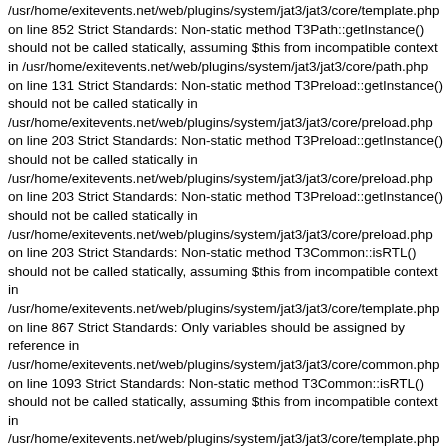/usr/home/exitevents.net/web/plugins/system/jat3/jat3/core/template.php on line 852 Strict Standards: Non-static method T3Path::getInstance() should not be called statically, assuming $this from incompatible context in /usr/home/exitevents.net/web/plugins/system/jat3/jat3/core/path.php on line 131 Strict Standards: Non-static method T3Preload::getInstance() should not be called statically in /usr/home/exitevents.net/web/plugins/system/jat3/jat3/core/preload.php on line 203 Strict Standards: Non-static method T3Preload::getInstance() should not be called statically in /usr/home/exitevents.net/web/plugins/system/jat3/jat3/core/preload.php on line 203 Strict Standards: Non-static method T3Preload::getInstance() should not be called statically in /usr/home/exitevents.net/web/plugins/system/jat3/jat3/core/preload.php on line 203 Strict Standards: Non-static method T3Common::isRTL() should not be called statically, assuming $this from incompatible context in /usr/home/exitevents.net/web/plugins/system/jat3/jat3/core/template.php on line 867 Strict Standards: Only variables should be assigned by reference in /usr/home/exitevents.net/web/plugins/system/jat3/jat3/core/common.php on line 1093 Strict Standards: Non-static method T3Common::isRTL() should not be called statically, assuming $this from incompatible context in /usr/home/exitevents.net/web/plugins/system/jat3/jat3/core/template.php on line 867 Strict Standards: Only variables should be assigned by reference in /usr/home/exitevents.net/web/plugins/system/jat3/jat3/core/common.php on line 1093 Strict Standards: Non-static method T3Path::get() should not be called statically, assuming $this from incompatible context in /usr/home/exitevents.net/web/plugins/system/jat3/jat3/core/template.php on line 852 Strict Standards: Non-static method T3Path::getInstance() should not be called